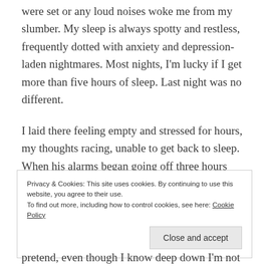were set or any loud noises woke me from my slumber. My sleep is always spotty and restless, frequently dotted with anxiety and depression-laden nightmares. Most nights, I'm lucky if I get more than five hours of sleep. Last night was no different.
I laid there feeling empty and stressed for hours, my thoughts racing, unable to get back to sleep.  When his alarms began going off three hours later, I resigned myself to the fact that there would be no more sleep for me today.
Privacy & Cookies: This site uses cookies. By continuing to use this website, you agree to their use.
To find out more, including how to control cookies, see here: Cookie Policy
pretend, even though I know deep down I'm not kidding